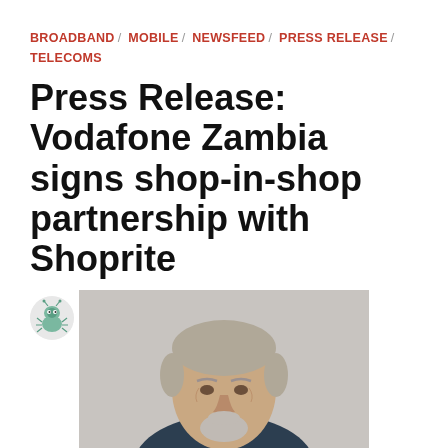BROADBAND / MOBILE / NEWSFEED / PRESS RELEASE / TELECOMS
Press Release: Vodafone Zambia signs shop-in-shop partnership with Shoprite
by TechTrends   27 February 2017
[Figure (photo): Portrait photo of an older man with grey/white hair and beard, looking upward, against a light grey background]